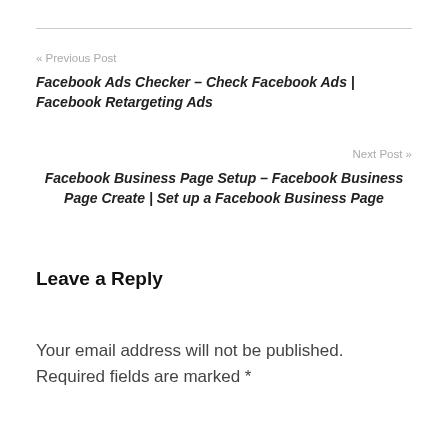« Previous Post
Facebook Ads Checker – Check Facebook Ads | Facebook Retargeting Ads
Next Post »
Facebook Business Page Setup – Facebook Business Page Create | Set up a Facebook Business Page
Leave a Reply
Your email address will not be published. Required fields are marked *